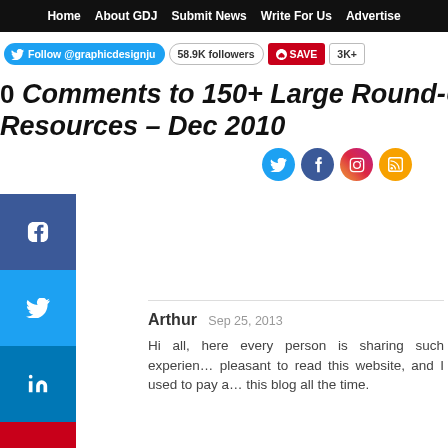Home  About GDJ  Submit News  Write For Us  Advertise
0 Comments to 150+ Large Round-Up Of Best User Submitted Community News Resources – Dec 2010
Arthur  Sep 25, 2013
Hi all, here every person is sharing such experience, pleasant to read this website, and I used to pay a visit this blog all the time.
Trackbacks to this post.
1. 150+ Large Round-Up Of Best User Submitted Community News Resources - Media Centre
2. Tweets that mention 150+ Large Round-Up Of Best User Submitted Community News Resources – Dec 2010 | Community News | Graphic... -- Topsy.com
3. 150+ Large Round-Up Of Best User Submitted Community...